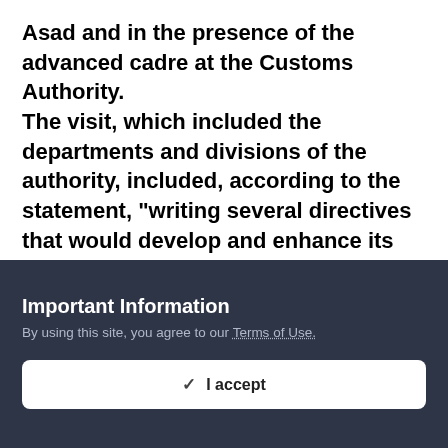Asad and in the presence of the advanced cadre at the Customs Authority. The visit, which included the departments and divisions of the authority, included, according to the statement, "writing several directives that would develop and enhance its tasks and capabilities, and follow-up to intensify efforts to raise the level of services provided, as well as direct knowledge of the progress of the approved administrative and technical procedures."
Allawi stressed, "The visit came with the aim...
Important Information
By using this site, you agree to our Terms of Use.
✓  I accept